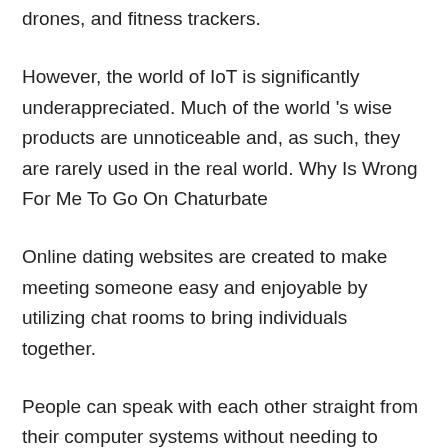drones, and fitness trackers.
However, the world of IoT is significantly underappreciated. Much of the world 's wise products are unnoticeable and, as such, they are rarely used in the real world. Why Is Wrong For Me To Go On Chaturbate
Online dating websites are created to make meeting someone easy and enjoyable by utilizing chat rooms to bring individuals together.
People can speak with each other straight from their computer systems without needing to speak with each other face to face.
Numerous users of Chaturbate prefer having the ability to interact with models on their site. That’s one reason they visit the website regularly.
Other users like to view the videos of live broadcasts. It provides